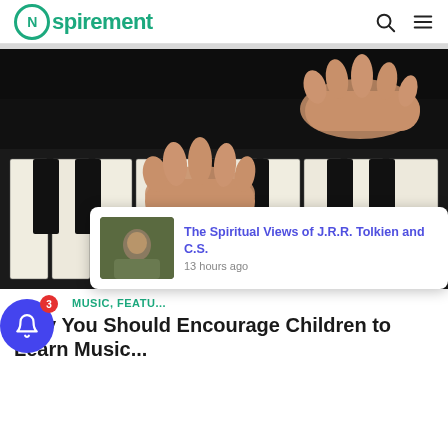Nspirement
[Figure (photo): Close-up photo of two hands playing piano keys, black and white keys visible, dark background, one hand in center-left and another hand upper-right]
[Figure (photo): Popup notification card showing a thumbnail of a person sitting outdoors and text 'The Spiritual Views of J.R.R. Tolkien and C.S.' with '13 hours ago']
MUSIC, FEATU...
Why You Should Encourage Children to Learn Music...